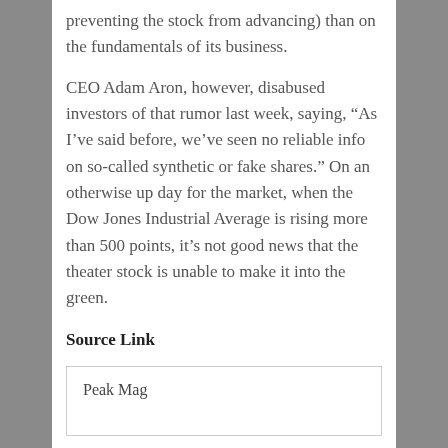preventing the stock from advancing) than on the fundamentals of its business.
CEO Adam Aron, however, disabused investors of that rumor last week, saying, “As I’ve said before, we’ve seen no reliable info on so-called synthetic or fake shares.” On an otherwise up day for the market, when the Dow Jones Industrial Average is rising more than 500 points, it’s not good news that the theater stock is unable to make it into the green.
Source Link
Peak Mag